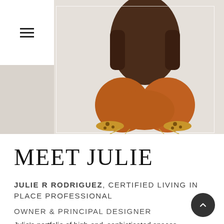[Figure (photo): Person sitting cross-legged on a gold wire stool, wearing burnt orange/rust trousers with a dark top and leopard print shoes, photographed against a light grey/white background. White menu overlay box with hamburger icon in top-left. White rectangular border overlay on the right portion of the image.]
MEET JULIE
JULIE R RODRIGUEZ, CERTIFIED LIVING IN PLACE PROFESSIONAL
OWNER & PRINCIPAL DESIGNER
Julie's portfolio of high-end, sophisticated spaces